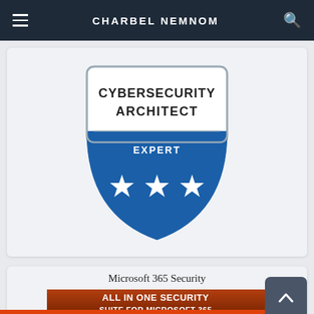CHARBEL NEMNOM
[Figure (illustration): Cybersecurity Architect Expert badge — shield shape in blue with text 'CYBERSECURITY ARCHITECT' at top, 'EXPERT' in white, and three white stars on blue background]
Microsoft 365 Security
[Figure (screenshot): Advertisement banner: 'ALL IN ONE SECURITY SUITE FOR MICROSOFT 365' with 'TOTAL PROTECTION' text over a dark/orange background, with a shield icon and bird logo with 'GET PROTECTED' button]
[Figure (infographic): Orange advertisement banner: 'Help send medical aid to Ukraine >>' with Direct Relief logo on the right]